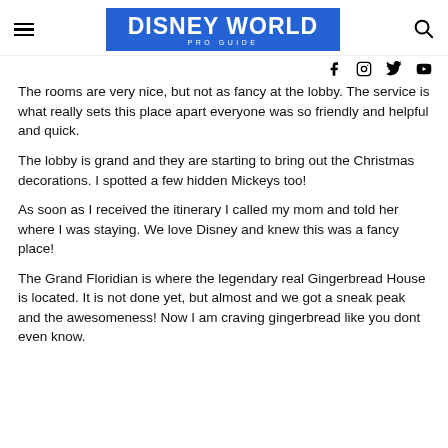DISNEY WORLD PRO GUIDE
The rooms are very nice, but not as fancy at the lobby. The service is what really sets this place apart everyone was so friendly and helpful and quick.
The lobby is grand and they are starting to bring out the Christmas decorations. I spotted a few hidden Mickeys too!
As soon as I received the itinerary I called my mom and told her where I was staying. We love Disney and knew this was a fancy place!
The Grand Floridian is where the legendary real Gingerbread House is located. It is not done yet, but almost and we got a sneak peak and the awesomeness! Now I am craving gingerbread like you dont even know.